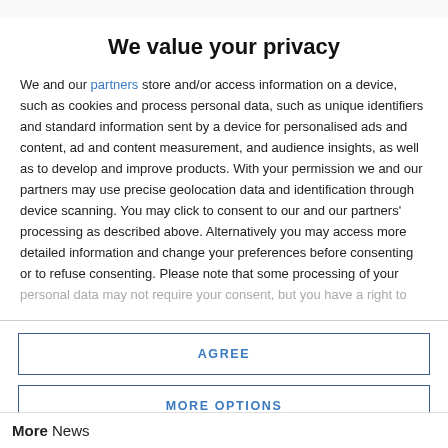We value your privacy
We and our partners store and/or access information on a device, such as cookies and process personal data, such as unique identifiers and standard information sent by a device for personalised ads and content, ad and content measurement, and audience insights, as well as to develop and improve products. With your permission we and our partners may use precise geolocation data and identification through device scanning. You may click to consent to our and our partners' processing as described above. Alternatively you may access more detailed information and change your preferences before consenting or to refuse consenting. Please note that some processing of your personal data may not require your consent, but you have a right to
AGREE
MORE OPTIONS
More News